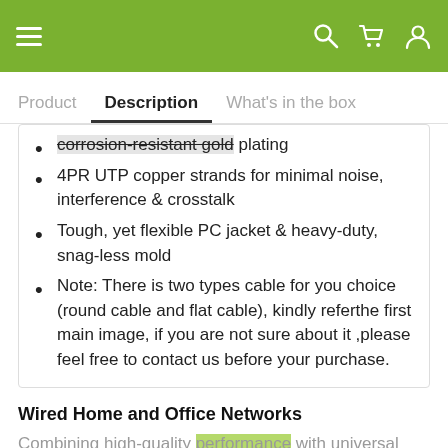Navigation bar with hamburger menu, search, cart, and user icons
Product | Description | What's in the box
corrosion-resistant gold plating
4PR UTP copper strands for minimal noise, interference & crosstalk
Tough, yet flexible PC jacket & heavy-duty, snag-less mold
Note: There is two types cable for you choice (round cable and flat cable), kindly referthe first main image, if you are not sure about it ,please feel free to contact us before your purchase.
Wired Home and Office Networks
Combining high-quality performance with universal compatibility, Ugreen RJ45 Cat-6 Ethernet patch cable connects computers to network components in a wired Local Area Network (LAN). Available in a choice